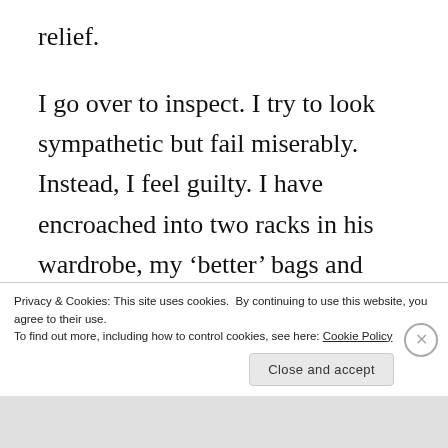relief.
I go over to inspect. I try to look sympathetic but fail miserably. Instead, I feel guilty. I have encroached into two racks in his wardrobe, my ‘better’ bags and clutches rest there in comfort, while a few new sarees nestle in the other rack. I
Privacy & Cookies: This site uses cookies. By continuing to use this website, you agree to their use.
To find out more, including how to control cookies, see here: Cookie Policy
Close and accept